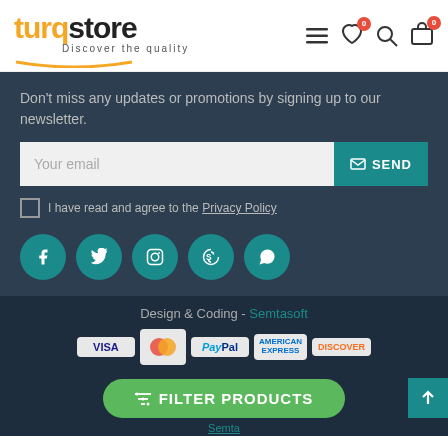[Figure (logo): Turqstore logo with orange 'turq' and black 'store' text, tagline 'Discover the quality', navigation icons including hamburger menu, heart with badge 0, search, and shopping bag with badge 0]
Don't miss any updates or promotions by signing up to our newsletter.
Your email
SEND
I have read and agree to the Privacy Policy
[Figure (illustration): Social media icons in teal circles: Facebook, Twitter, Instagram, Skype, WhatsApp]
Design & Coding - Semtasoft
[Figure (illustration): Payment method logos: VISA, Mastercard, PayPal, American Express, Discover]
FILTER PRODUCTS
Semta